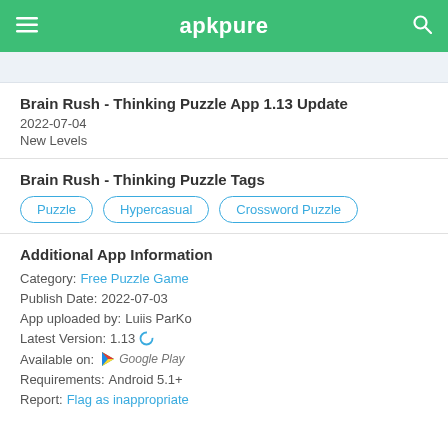apkpure
Brain Rush - Thinking Puzzle App 1.13 Update
2022-07-04
New Levels
Brain Rush - Thinking Puzzle Tags
Puzzle
Hypercasual
Crossword Puzzle
Additional App Information
Category:  Free Puzzle Game
Publish Date:  2022-07-03
App uploaded by:  Luiis ParKo
Latest Version:  1.13
Available on:  Google Play
Requirements:  Android 5.1+
Report:  Flag as inappropriate